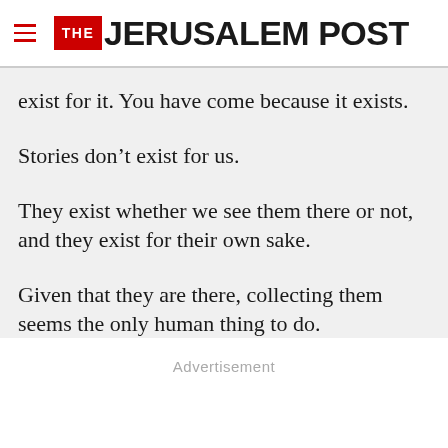THE JERUSALEM POST
exist for it. You have come because it exists.
Stories don’t exist for us.
They exist whether we see them there or not, and they exist for their own sake.
Given that they are there, collecting them seems the only human thing to do.
Advertisement